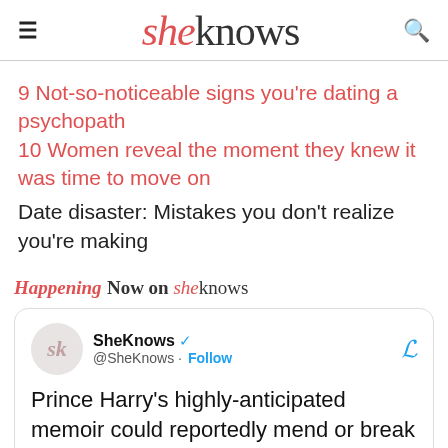sheknows
9 Not-so-noticeable signs you're dating a psychopath
10 Women reveal the moment they knew it was time to move on
Date disaster: Mistakes you don't realize you're making
Happening Now on sheknows
SheKnows @SheKnows · Follow
Prince Harry's highly-anticipated memoir could reportedly mend or break relations